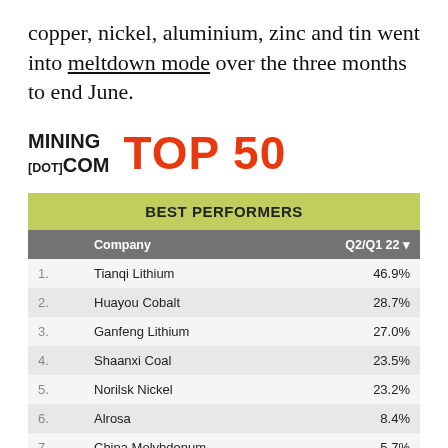copper, nickel, aluminium, zinc and tin went into meltdown mode over the three months to end June.
[Figure (logo): MINING[DOT]COM TOP 50 logo with red bold TOP 50 text]
| BEST PERFORMERS |  |  |
| --- | --- | --- |
|  | Company | Q2/Q1 22 ▼ |
| 1. | Tianqi Lithium | 46.9% |
| 2. | Huayou Cobalt | 28.7% |
| 3. | Ganfeng Lithium | 27.0% |
| 4. | Shaanxi Coal | 23.5% |
| 5. | Norilsk Nickel | 23.2% |
| 6. | Alrosa | 8.4% |
| 7. | China Molybdenum | 5.7% |
| 8. | Yanzhou Coal | 2.9% |
| 9. | Albemarle | -1.2% |